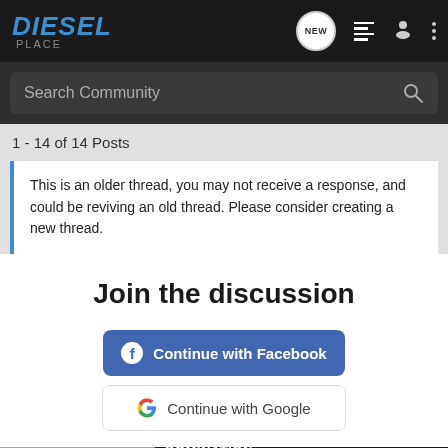Diesel Place
Search Community
1 - 14 of 14 Posts
This is an older thread, you may not receive a response, and could be reviving an old thread. Please consider creating a new thread.
Join the discussion
Continue with Facebook
Continue with Google
[Figure (screenshot): Toyo Tires advertisement banner showing a rally truck with text DOMINATION IN THE DIRT and TOYO TIRES #TEAMTOYO LEARN MORE]